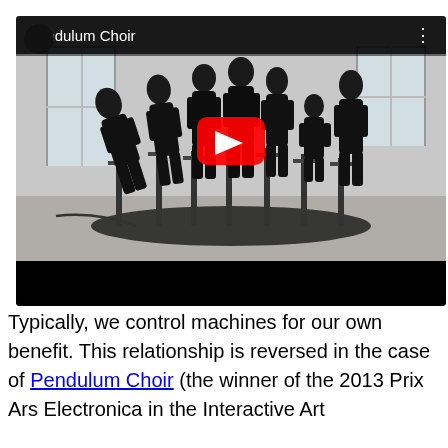[Figure (screenshot): YouTube video thumbnail showing 'Pendulum Choir' — several people dressed in black standing on mechanical pendulum rigs in an industrial warehouse space. A red YouTube play button is centered on the image. The video title bar reads 'Pendulum Choir' with a three-dot menu icon.]
Typically, we control machines for our own benefit. This relationship is reversed in the case of Pendulum Choir (the winner of the 2013 Prix Ars Electronica in the Interactive Art